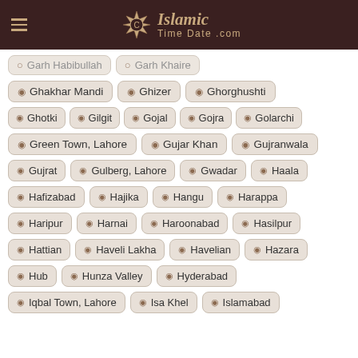Islamic TimeDate.com
Garh Habibullah
Garh Khaire
Ghakhar Mandi
Ghizer
Ghorghushti
Ghotki
Gilgit
Gojal
Gojra
Golarchi
Green Town, Lahore
Gujar Khan
Gujranwala
Gujrat
Gulberg, Lahore
Gwadar
Haala
Hafizabad
Hajika
Hangu
Harappa
Haripur
Harnai
Haroonabad
Hasilpur
Hattian
Haveli Lakha
Havelian
Hazara
Hub
Hunza Valley
Hyderabad
Iqbal Town, Lahore
Isa Khel
Islamabad